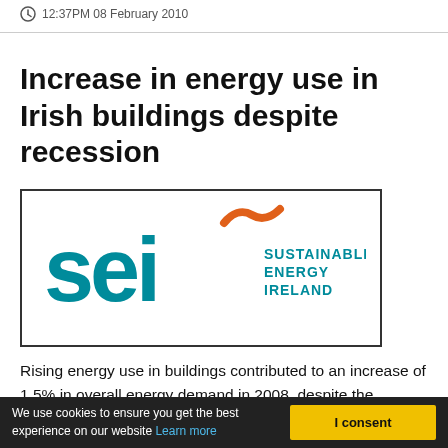12:37PM 08 February 2010
Increase in energy use in Irish buildings despite recession
[Figure (logo): SEI Sustainable Energy Ireland logo — teal lowercase 'sei' text with orange wave/tilde above the 'i', and 'SUSTAINABLE ENERGY IRELAND' text to the right]
Rising energy use in buildings contributed to an increase of 1.5% in overall energy demand in 2008, despite the economy contracting by 3% over the same period, a new report from Sustainable Energy Ireland (SEI) reveals today.
We use cookies to ensure you get the best experience on our website Learn more